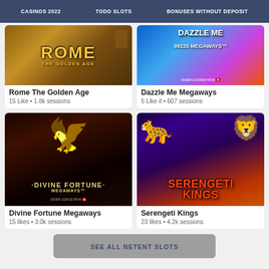CASINOS 2022  TODO SLOTS  BONUSES WITHOUT DEPOSIT
[Figure (screenshot): Rome The Golden Age slot game thumbnail with golden text on dark background]
Rome The Golden Age
15 Like • 1.8k sessions
[Figure (screenshot): Dazzle Me Megaways slot game thumbnail with 99225 MEGAWAYS text on colorful background]
Dazzle Me Megaways
5 Like it • 607 sessions
[Figure (screenshot): Divine Fortune Megaways slot game thumbnail with golden pegasus on dark background]
Divine Fortune Megaways
15 likes • 3.0k sessions
[Figure (screenshot): Serengeti Kings slot game thumbnail with panther and lion on purple/red background]
Serengeti Kings
23 likes • 4.2k sessions
SEE ALL NETENT SLOTS